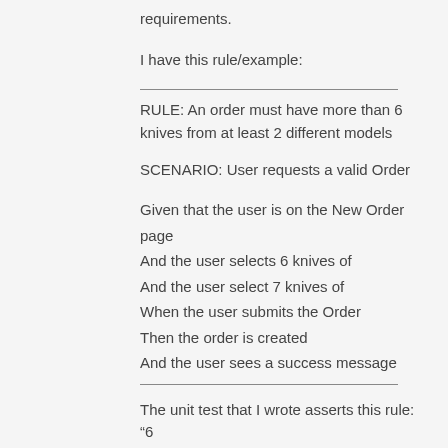requirements.
I have this rule/example:
RULE: An order must have more than 6 knives from at least 2 different models
SCENARIO: User requests a valid Order
Given that the user is on the New Order page
And the user selects 6 knives of
And the user select 7 knives of
When the user submits the Order
Then the order is created
And the user sees a success message
The unit test that I wrote asserts this rule: “6